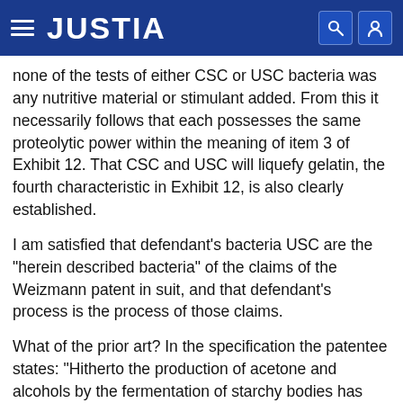JUSTIA
none of the tests of either CSC or USC bacteria was any nutritive material or stimulant added. From this it necessarily follows that each possesses the same proteolytic power within the meaning of item 3 of Exhibit 12. That CSC and USC will liquefy gelatin, the fourth characteristic in Exhibit 12, is also clearly established.
I am satisfied that defendant's bacteria USC are the "herein described bacteria" of the claims of the Weizmann patent in suit, and that defendant's process is the process of those claims.
What of the prior art? In the specification the patentee states: "Hitherto the production of acetone and alcohols by the fermentation of starchy bodies has been effected by means of bacteria inter alia by bacteria defined as of the type of Fitz." In referring to bacteria "of the type of Fitz," Weizmann doubtless had in mind the Fernbach